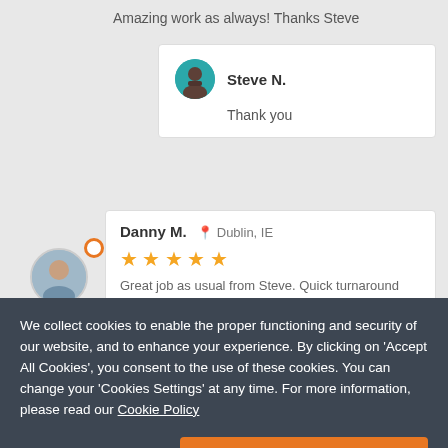Amazing work as always! Thanks Steve
Steve N.
Thank you
Danny M. Dublin, IE
★★★★★
Great job as usual from Steve. Quick turnaround and fantastic communication.
We collect cookies to enable the proper functioning and security of our website, and to enhance your experience. By clicking on 'Accept All Cookies', you consent to the use of these cookies. You can change your 'Cookies Settings' at any time. For more information, please read our Cookie Policy
Cookie Settings
ACCEPT ALL COOKIES